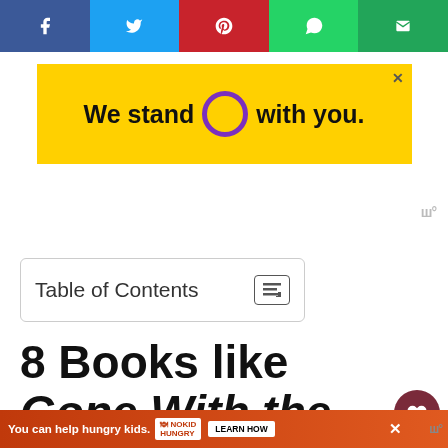[Figure (other): Social media share buttons bar: Facebook (blue), Twitter (cyan), Pinterest (red), WhatsApp (green), Email (green)]
[Figure (other): Advertisement banner: yellow background with text 'We stand O with you.' and a purple circle, close button X in top right]
Table of Contents
8 Books like Gone With the Wind
The Thorn Birds, by Colleen M